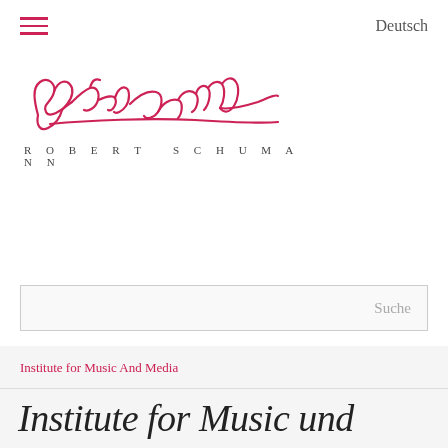≡  Deutsch
[Figure (logo): Robert Schumann signature logo in cursive pink/magenta script with 'ROBERT SCHUMANN' printed text below]
Suche
Institute for Music And Media
Institute for Music und